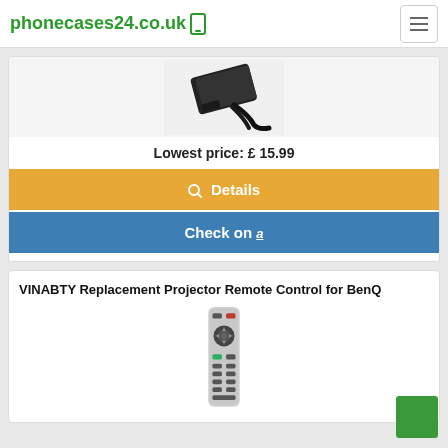phonecases24.co.uk
[Figure (photo): Product image of a black power cable/charger]
Lowest price: £ 15.99
Details
Check on amazon
VINABTY Replacement Projector Remote Control for BenQ
[Figure (photo): Product image of a BenQ projector remote control]